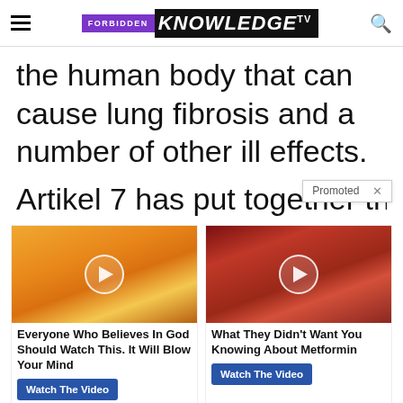FORBIDDEN KNOWLEDGE TV
the human body that can cause lung fibrosis and a number of other ill effects.
Artikel 7 has put together thi…
[Figure (screenshot): Promoted ad widget with two video ad cards. Left card: sky/clouds image with play button, title 'Everyone Who Believes In God Should Watch This. It Will Blow Your Mind', 'Watch The Video' button. Right card: medical/body image with play button, title 'What They Didn't Want You Knowing About Metformin', 'Watch The Video' button. 'Promoted x' badge shown.]